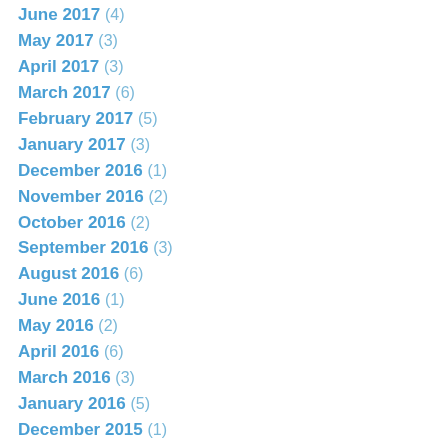June 2017 (4)
May 2017 (3)
April 2017 (3)
March 2017 (6)
February 2017 (5)
January 2017 (3)
December 2016 (1)
November 2016 (2)
October 2016 (2)
September 2016 (3)
August 2016 (6)
June 2016 (1)
May 2016 (2)
April 2016 (6)
March 2016 (3)
January 2016 (5)
December 2015 (1)
November 2015 (4)
October 2015 (1)
September 2015 (1)